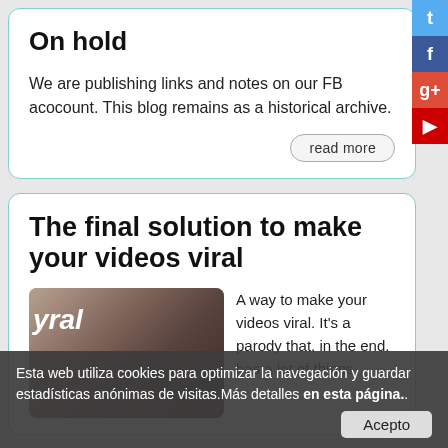On hold
We are publishing links and notes on our FB acocount. This blog remains as a historical archive.
read more
The final solution to make your videos viral
[Figure (photo): Photo of an elderly man with white hair, with text overlay showing 'yral' on the left side]
A way to make your videos viral. It's a parody that, in the end, has a lot of things of some professionals. Vi...
Esta web utiliza cookies para optimizar la navegación y guardar estadísticas anónimas de visitas.Más detalles en esta página..
Acepto